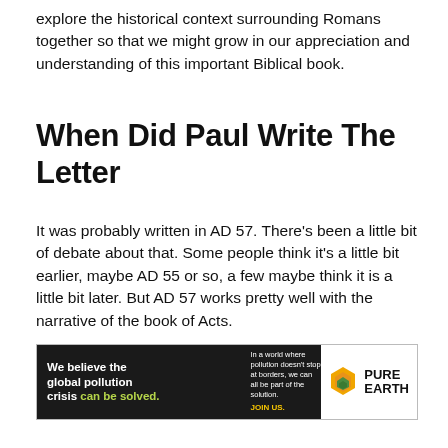explore the historical context surrounding Romans together so that we might grow in our appreciation and understanding of this important Biblical book.
When Did Paul Write The Letter
It was probably written in AD 57. There’s been a little bit of debate about that. Some people think it’s a little bit earlier, maybe AD 55 or so, a few maybe think it is a little bit later. But AD 57 works pretty well with the narrative of the book of Acts.
Paul seems to have been was Corinth and the most likely
[Figure (infographic): Pure Earth advertisement banner: black background with text 'We believe the global pollution crisis can be solved.' with 'can be solved.' in green, smaller text 'In a world where pollution doesn’t stop at borders, we can all be part of the solution.' and 'JOIN US.' in yellow, and Pure Earth logo on white background on the right.]